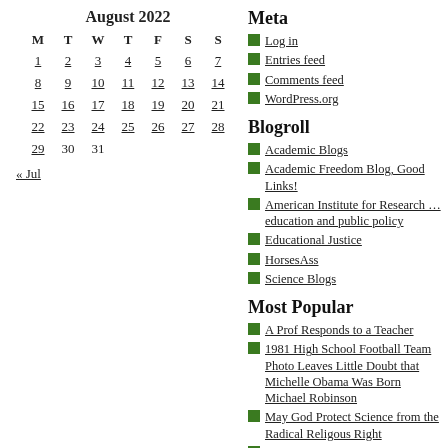| M | T | W | T | F | S | S |
| --- | --- | --- | --- | --- | --- | --- |
| 1 | 2 | 3 | 4 | 5 | 6 | 7 |
| 8 | 9 | 10 | 11 | 12 | 13 | 14 |
| 15 | 16 | 17 | 18 | 19 | 20 | 21 |
| 22 | 23 | 24 | 25 | 26 | 27 | 28 |
| 29 | 30 | 31 |  |  |  |  |
« Jul
Meta
Log in
Entries feed
Comments feed
WordPress.org
Blogroll
Academic Blogs
Academic Freedom Blog, Good Links!
American Institute for Research … education and public policy
Educational Justice
HorsesAss
Science Blogs
Most Popular
A Prof Responds to a Teacher
1981 High School Football Team Photo Leaves Little Doubt that Michelle Obama Was Born Michael Robinson
May God Protect Science from the Radical Religous Right
UPDATE: A Response to OpEds on GWU